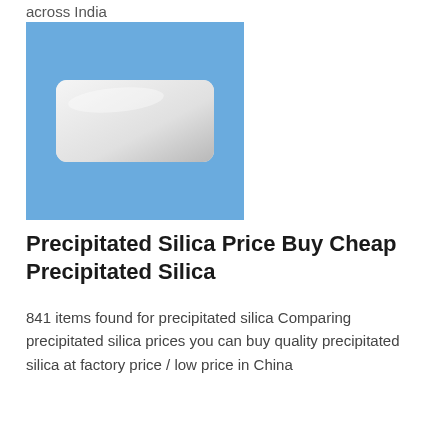across India
[Figure (photo): Photo of a white rectangular precipitated silica block on a blue background]
Precipitated Silica Price Buy Cheap Precipitated Silica
841 items found for precipitated silica Comparing precipitated silica prices you can buy quality precipitated silica at factory price / low price in China
[Figure (photo): Photo of two brown stacked silica granule columns]
Silica Granules Latest Price Precipitated